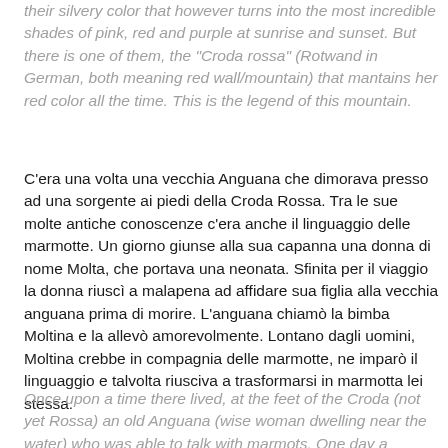their silvery color that however turns into the most incredible shades of pink, red and purple at sunrise and sunset. But there is one of them, the "Croda rossa" (Rotwand in German, both meaning red wall/mountain) that mantains her red color all the time. This is the legend of this mountain.
C'era una volta una vecchia Anguana che dimorava presso ad una sorgente ai piedi della Croda Rossa. Tra le sue molte antiche conoscenze c'era anche il linguaggio delle marmotte. Un giorno giunse alla sua capanna una donna di nome Molta, che portava una neonata. Sfinita per il viaggio la donna riuscì a malapena ad affidare sua figlia alla vecchia anguana prima di morire. L'anguana chiamò la bimba Moltina e la allevò amorevolmente. Lontano dagli uomini, Moltina crebbe in compagnia delle marmotte, ne imparò il linguaggio e talvolta riusciva a trasformarsi in marmotta lei stessa.
Once upon a time there lived, at the feet of the Croda (not yet Rossa) an old Anguana (wise woman dwelling near the water) who was able to talk with marmots. One day a woman